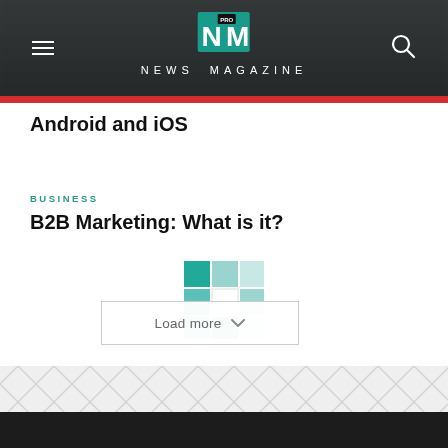NEWS MAGAZINE
Android and iOS
BUSINESS
B2B Marketing: What is it?
[Figure (illustration): Animated loading spinner grid made of teal/light teal squares with a Load more button overlay]
[Figure (illustration): Footer area with geometric diamond/rhombus repeating pattern in light grey, with dark grey/black strip at bottom]